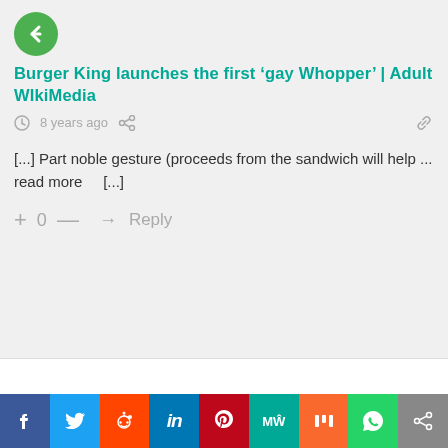[Figure (logo): Green circle back button with left-pointing chevron arrow]
Burger King launches the first ‘gay Whopper’ | Adult WIkiMedia
8 years ago
[...] Part noble gesture (proceeds from the sandwich will help ... read more    [...]
+ 0 —  ➜ Reply
[Figure (screenshot): White content card area with page number 1, scroll-to-top blue button, and teal chat bubble icon]
[Figure (infographic): Social sharing bar with Facebook, Twitter, Reddit, LinkedIn, Pinterest, MeWe, Mix, WhatsApp, Share buttons]